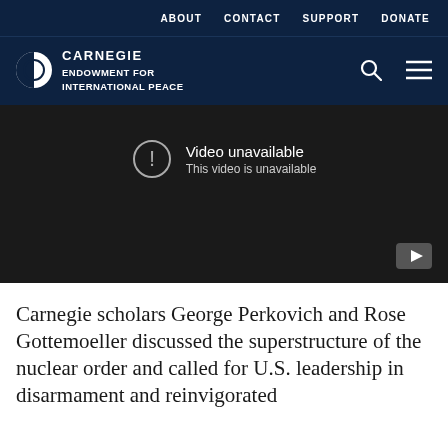ABOUT  CONTACT  SUPPORT  DONATE
[Figure (logo): Carnegie Endowment for International Peace logo with half-circle icon and text]
[Figure (screenshot): Embedded YouTube video player showing 'Video unavailable - This video is unavailable' message on dark background with YouTube play button icon in bottom right]
Carnegie scholars George Perkovich and Rose Gottemoeller discussed the superstructure of the nuclear order and called for U.S. leadership in disarmament and reinvigorated